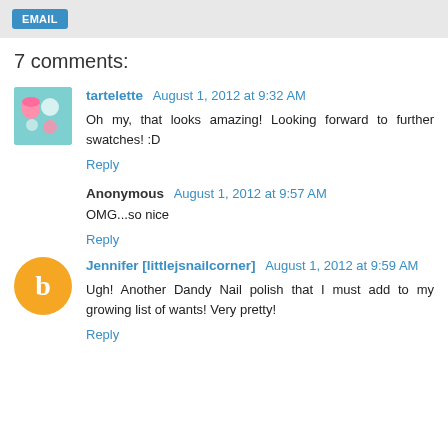7 comments:
tartelette August 1, 2012 at 9:32 AM
Oh my, that looks amazing! Looking forward to further swatches! :D
Reply
Anonymous August 1, 2012 at 9:57 AM
OMG...so nice
Reply
Jennifer [littlejsnailcorner] August 1, 2012 at 9:59 AM
Ugh! Another Dandy Nail polish that I must add to my growing list of wants! Very pretty!
Reply